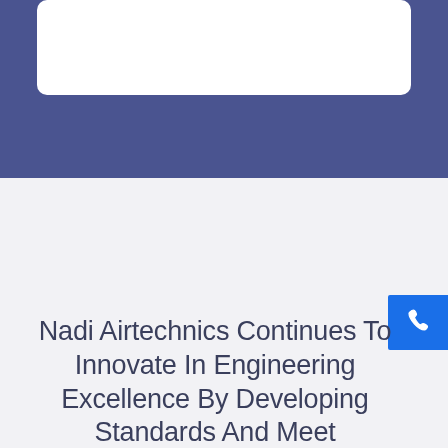[Figure (other): Blue banner background with white rounded card at top of page]
Nadi Airtechnics Continues To Innovate In Engineering Excellence By Developing Standards And Meet International Quality Expectations